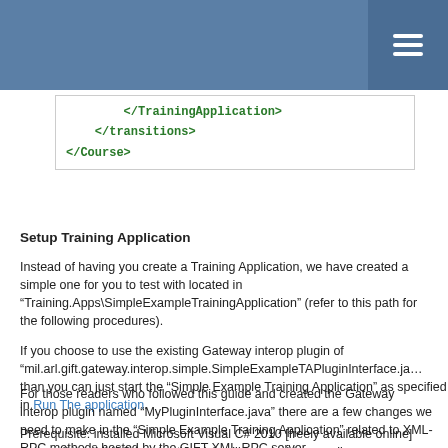[Figure (other): Blue header navigation bar with hamburger menu icon on the right]
</TrainingApplication>
    </transitions>
</Course>
Setup Training Application
Instead of having you create a Training Application, we have created a simple one for you to test with located in “Training.Apps\SimpleExampleTrainingApplication” (refer to this path for the following procedures).
If you choose to use the existing Gateway interop plugin of “mil.arl.gift.gateway.interop.simple.SimpleExampleTAPluginInterface.ja… than you can just start the “Simple Example Training Application” as specified in Run The application.
For those readers who followed this guide and created the Gateway interop plugin named “MyPluginInterface.java” there are a few changes we need to make in the “Simple Example Training Application” related to XML-RPC methods hosted by the GIFT XML-RPC server.
Prerequisite: installed Microsoft Visual C# 2010 [freely available online] (let’s call this MVCS for short) which will be need to compile